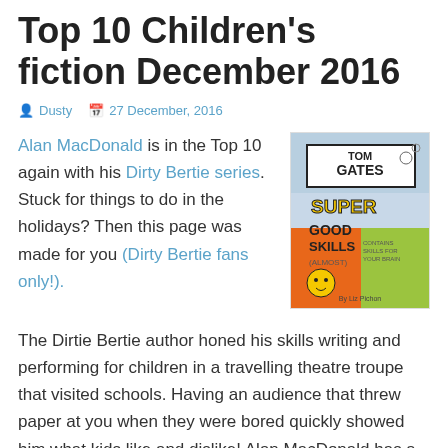Top 10 Children's fiction December 2016
Dusty  27 December, 2016
Alan MacDonald is in the Top 10 again with his Dirty Bertie series. Stuck for things to do in the holidays? Then this page was made for you (Dirty Bertie fans only!).
[Figure (photo): Book cover: Tom Gates Super Good Skills (Almost) by Liz Pichon]
The Dirtie Bertie author honed his skills writing and performing for children in a travelling theatre troupe that visited schools. Having an audience that threw paper at you when they were bored quickly showed him what kids like and dislike! Alan MacDonald has a page on his site dedicated to the drawings that children send him. Do you